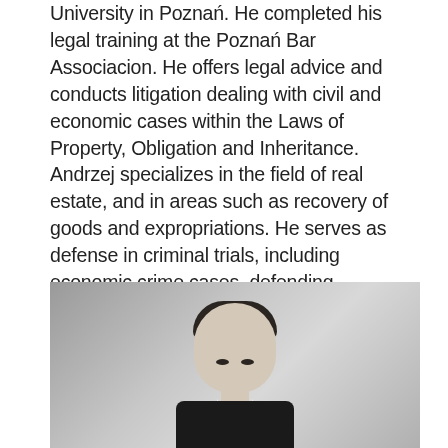University in Poznań. He completed his legal training at the Poznań Bar Associacion. He offers legal advice and conducts litigation dealing with civil and economic cases within the Laws of Property, Obligation and Inheritance. Andrzej specializes in the field of real estate, and in areas such as recovery of goods and expropriations. He serves as defense in criminal trials, including economic crime cases, defending entrepreneurs and board members, as well as representing the victims of such crimes.
[Figure (photo): Black and white professional portrait photo of a man with dark hair, wearing a dark suit, looking directly at the camera.]